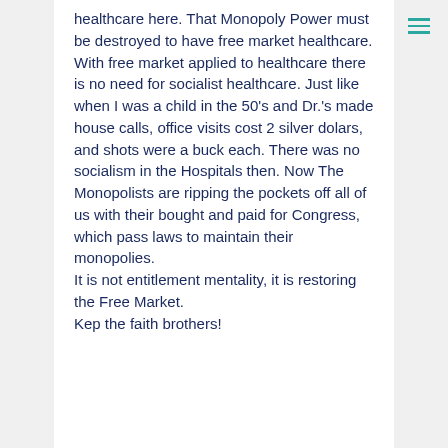healthcare here. That Monopoly Power must be destroyed to have free market healthcare. With free market applied to healthcare there is no need for socialist healthcare. Just like when I was a child in the 50's and Dr.'s made house calls, office visits cost 2 silver dolars, and shots were a buck each. There was no socialism in the Hospitals then. Now The Monopolists are ripping the pockets off all of us with their bought and paid for Congress, which pass laws to maintain their monopolies. It is not entitlement mentality, it is restoring the Free Market. Kep the faith brothers!